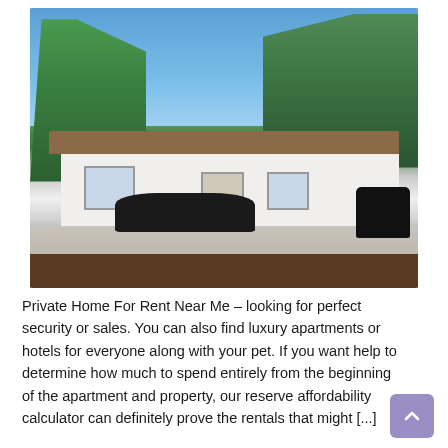[Figure (photo): Exterior photo of a single-story white ranch-style house with a brown roof, surrounded by tall green trees under a clear blue sky. A black car is parked in the driveway, landscaped front yard with mulch and small plants.]
Private Home For Rent Near Me – looking for perfect security or sales. You can also find luxury apartments or hotels for everyone along with your pet. If you want help to determine how much to spend entirely from the beginning of the apartment and property, our reserve affordability calculator can definitely prove the rentals that might [...]